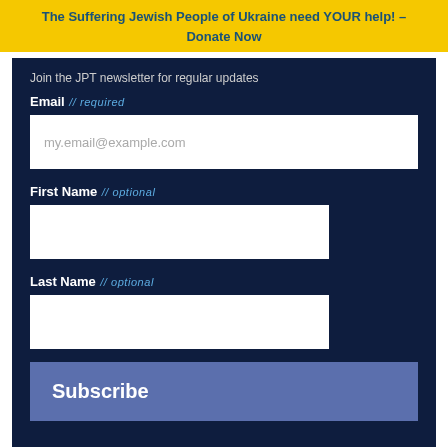The Suffering Jewish People of Ukraine need YOUR help! – Donate Now
Join the JPT newsletter for regular updates
Email // required
my.email@example.com
First Name // optional
Last Name // optional
Subscribe